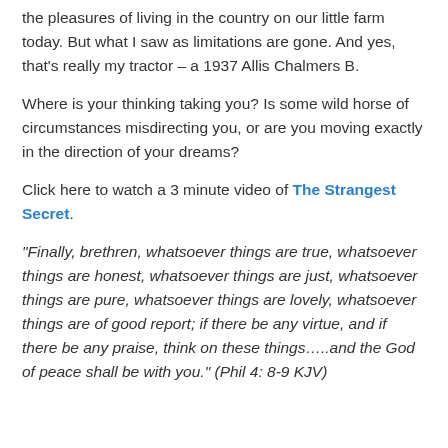the pleasures of living in the country on our little farm today.  But what I saw as limitations are gone.  And yes, that's really my tractor – a 1937 Allis Chalmers B.
Where is your thinking taking you?  Is some wild horse of circumstances misdirecting you, or are you moving exactly in the direction of your dreams?
Click here to watch a 3 minute video of The Strangest Secret.
“Finally, brethren, whatsoever things are true, whatsoever things are honest, whatsoever things are just, whatsoever things are pure, whatsoever things are lovely, whatsoever things are of good report; if there be any virtue, and if there be any praise, think on these things…..and the God of peace shall be with you.” (Phil 4: 8-9 KJV)